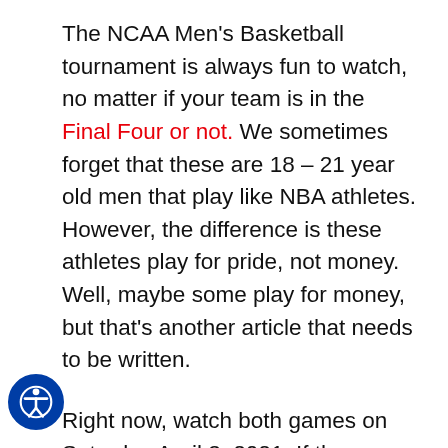The NCAA Men's Basketball tournament is always fun to watch, no matter if your team is in the Final Four or not.  We sometimes forget that these are 18 – 21 year old men that play like NBA athletes.  However, the difference is these athletes play for pride, not money. Well, maybe some play for money, but that's another article that needs to be written.
Right now, watch both games on Saturday April 3, 2021.  If the Gonzaga Bulldogs don't win out, it will be a crushing loss to a perfect season.  If UCLA can pull off the win, it would be one of the greatest ns in history.  Baylor and Houston is a toss up